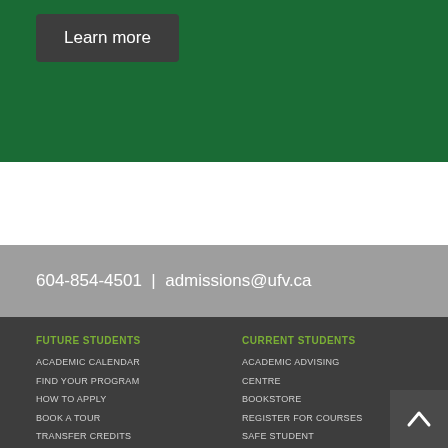[Figure (other): Green banner section with a dark gray 'Learn more' button]
604-854-4501 | admissions@ufv.ca
FUTURE STUDENTS
ACADEMIC CALENDAR
FIND YOUR PROGRAM
HOW TO APPLY
BOOK A TOUR
TRANSFER CREDITS
CURRENT STUDENTS
ACADEMIC ADVISING CENTRE
BOOKSTORE
REGISTER FOR COURSES
SAFE STUDENT